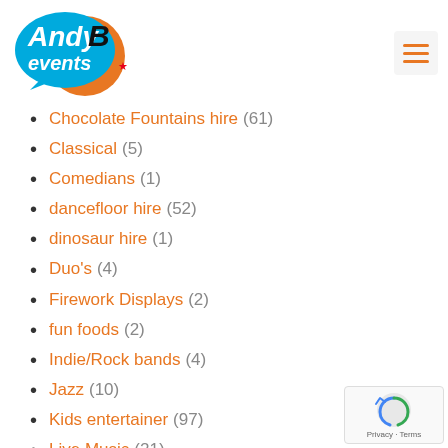AndyB Events logo and navigation
Chocolate Fountains hire (61)
Classical (5)
Comedians (1)
dancefloor hire (52)
dinosaur hire (1)
Duo's (4)
Firework Displays (2)
fun foods (2)
Indie/Rock bands (4)
Jazz (10)
Kids entertainer (97)
Live Music (21)
Magic/Speciality (10)
Mobile DJ (109)
Party bands (17)
Photo Booth Hire (11)